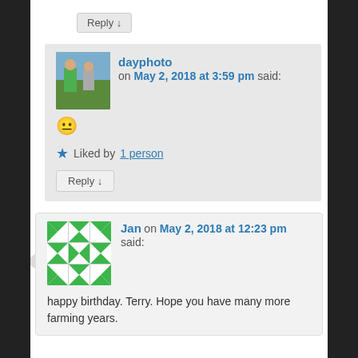Reply ↓
dayphoto on May 2, 2018 at 3:59 pm said:
😐
★ Liked by 1 person
Reply ↓
[Figure (photo): Green and white geometric patterned avatar icon]
Jan on May 2, 2018 at 12:23 pm said:
happy birthday. Terry. Hope you have many more farming years.